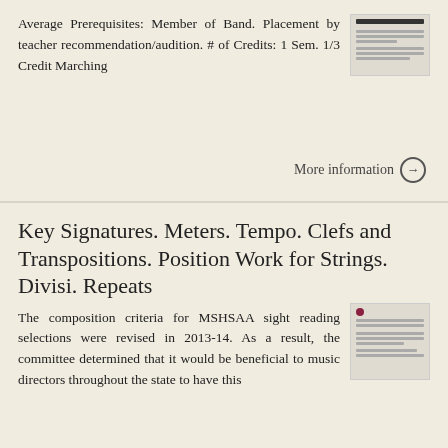Average Prerequisites: Member of Band. Placement by teacher recommendation/audition. # of Credits: 1 Sem. 1/3 Credit Marching
[Figure (screenshot): Thumbnail image of a document page with a bold header bar and several lines of text]
More information →
Key Signatures. Meters. Tempo. Clefs and Transpositions. Position Work for Strings. Divisi. Repeats
The composition criteria for MSHSAA sight reading selections were revised in 2013-14. As a result, the committee determined that it would be beneficial to music directors throughout the state to have this
[Figure (screenshot): Thumbnail image of a document with a red dot header and several lines of text content]
More information →
Greenwich Public Schools Orchestra